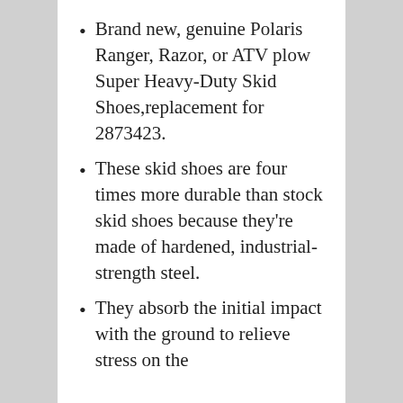Brand new, genuine Polaris Ranger, Razor, or ATV plow Super Heavy-Duty Skid Shoes,replacement for 2873423.
These skid shoes are four times more durable than stock skid shoes because they're made of hardened, industrial-strength steel.
They absorb the initial impact with the ground to relieve stress on the